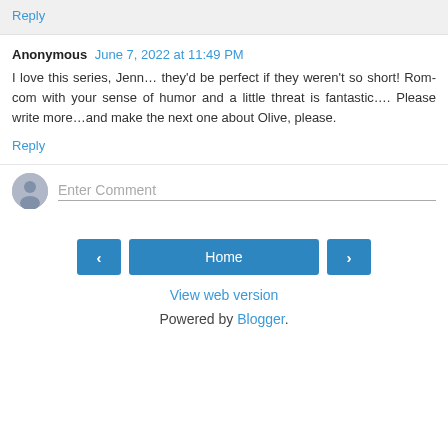Reply
Anonymous  June 7, 2022 at 11:49 PM
I love this series, Jenn… they'd be perfect if they weren't so short! Rom-com with your sense of humor and a little threat is fantastic…. Please write more…and make the next one about Olive, please.
Reply
Enter Comment
Home
View web version
Powered by Blogger.